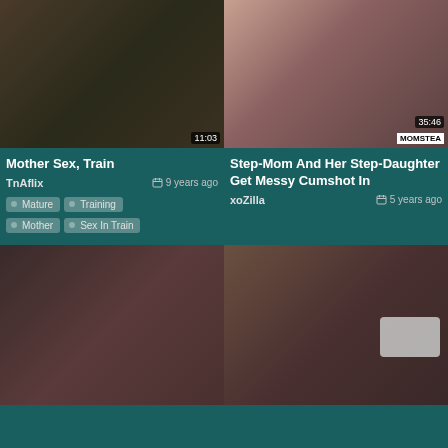[Figure (screenshot): Video thumbnail showing two people on a train]
Mother Sex, Train
TnAflix   9 years ago
Mature
Training
Mother
Sex In Train
[Figure (screenshot): Video thumbnail showing two people on a bed with MOMSTEA brand badge]
Step-Mom And Her Step-Daughter Get Messy Cumshot In
xoZilla   5 years ago
[Figure (screenshot): Video thumbnail showing a woman in white robe]
[Figure (screenshot): Video thumbnail showing two people]